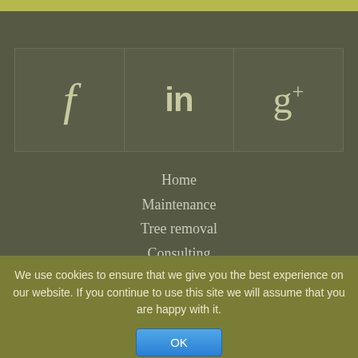[Figure (other): Social media icons row with Facebook (f), LinkedIn (in), and Google+ (g+) icons in dark olive-green cells]
Home
Maintenance
Tree removal
Consulting
About Us
Contact
FAQ's
Registered Office | 2 The Leys, Stratford Road, Wroxton,
We use cookies to ensure that we give you the best experience on our website. If you continue to use this site we will assume that you are happy with it.